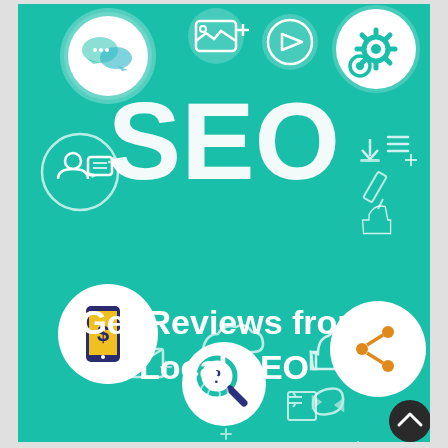[Figure (infographic): SEO infographic on teal/turquoise background showing various digital marketing icons (speech bubbles, image icon, video play button, settings gears, user/person with chat bubble, dollar sign mobile phone, cloud, magnifying glass with question mark, thumbs up, share icon, envelope, gear, refresh/sync icon, checklist) arranged around large white 'SEO' text in the center top portion. Bottom half contains white bold text 'Get Reviews from Local SEO'. A dark circular scroll-to-top button appears in the bottom right corner.]